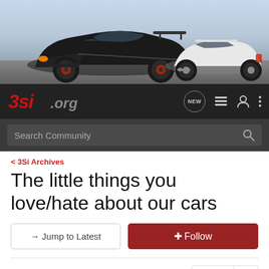[Figure (photo): Banner photo showing two sports cars (Mitsubishi 3000GT/GTO): a black modified car on the left and a white car on the right, on a road with sky background.]
[Figure (logo): 3Si.org logo in red italic bold text with .org in grey]
Search Community
< 3Si Archives
The little things you love/hate about our cars
→ Jump to Latest
+ Follow
1 - 20 of 38 Posts
1 of 2 ▶